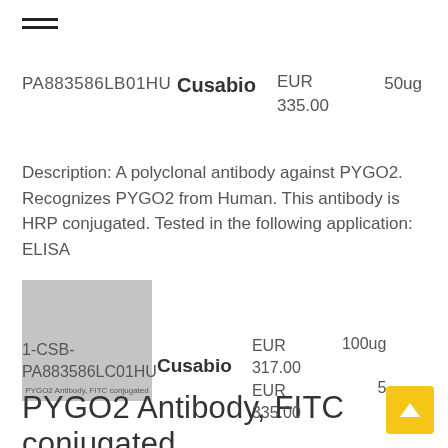[Figure (other): Hamburger menu icon (three horizontal lines)]
PA883586LB01HU   Cusabio   EUR 335.00   50ug
Description: A polyclonal antibody against PYGO2. Recognizes PYGO2 from Human. This antibody is HRP conjugated. Tested in the following application: ELISA
[Figure (photo): Product image placeholder for PYGO2 Antibody, FITC conjugated]
PYGO2 Antibody, FITC conjugated
1-CSB-PA883586LC01HU   Cusabio   EUR 317.00   100ug   EUR 335.00   50ug